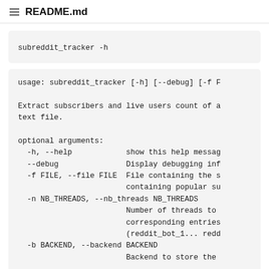README.md
subreddit_tracker -h
usage: subreddit_tracker [-h] [--debug] [-f F

Extract subscribers and live users count of a
text file.

optional arguments:
  -h, --help            show this help messag
  --debug               Display debugging inf
  -f FILE, --file FILE  File containing the s
                        containing popular su
  -n NB_THREADS, --nb_threads NB_THREADS
                        Number of threads to
                        corresponding entries
                        (reddit_bot_1... redd
  -b BACKEND, --backend BACKEND
                        Backend to store the